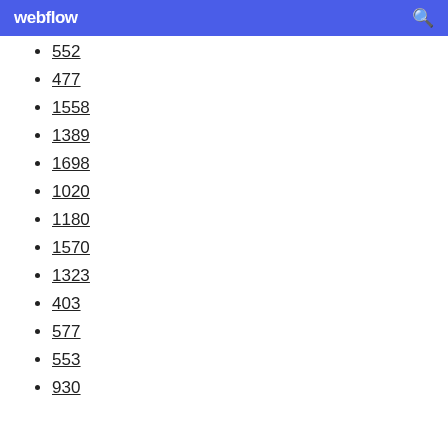webflow
552
477
1558
1389
1698
1020
1180
1570
1323
403
577
553
930